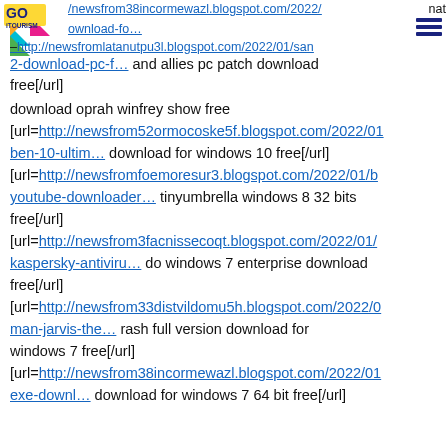GO iTOURISM logo with navigation URL: /newsfrom38incormewazl.blogspot.com/2022/... and download-fo... and http://newsfromlatanutpu3l.blogspot.com/2022/01/san 2-download-pc-f...
and allies pc patch download free[/url]
download oprah winfrey show free
[url=http://newsfrom52ormocoske5f.blogspot.com/2022/01 ben-10-ultim... download for windows 10 free[/url]
[url=http://newsfromfoemoresur3.blogspot.com/2022/01/b youtube-downloader... tinyumbrella windows 8 32 bits free[/url]
[url=http://newsfrom3facnissecoqt.blogspot.com/2022/01/ kaspersky-antiviru... do windows 7 enterprise download free[/url]
[url=http://newsfrom33distvildomu5h.blogspot.com/2022/0 man-jarvis-the... rash full version download for windows 7 free[/url]
[url=http://newsfrom38incormewazl.blogspot.com/2022/01 exe-downl... download for windows 7 64 bit free[/url]